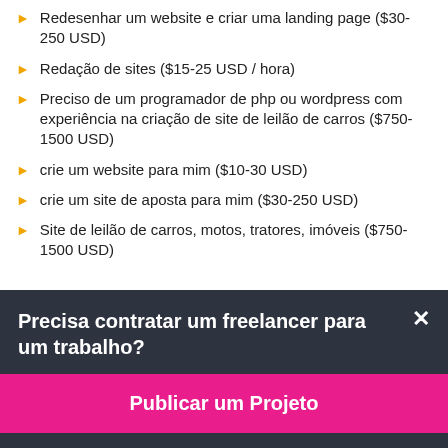Redesenhar um website e criar uma landing page ($30-250 USD)
Redação de sites ($15-25 USD / hora)
Preciso de um programador de php ou wordpress com experiência na criação de site de leilão de carros ($750-1500 USD)
crie um website para mim ($10-30 USD)
crie um site de aposta para mim ($30-250 USD)
Site de leilão de carros, motos, tratores, imóveis ($750-1500 USD)
Precisa contratar um freelancer para um trabalho?
Publicar um Projeto